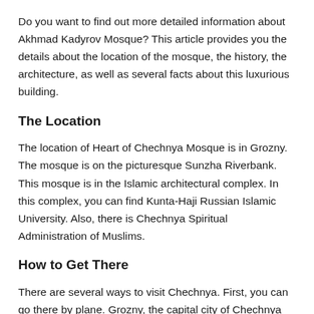Do you want to find out more detailed information about Akhmad Kadyrov Mosque? This article provides you the details about the location of the mosque, the history, the architecture, as well as several facts about this luxurious building.
The Location
The location of Heart of Chechnya Mosque is in Grozny. The mosque is on the picturesque Sunzha Riverbank. This mosque is in the Islamic architectural complex. In this complex, you can find Kunta-Haji Russian Islamic University. Also, there is Chechnya Spiritual Administration of Muslims.
How to Get There
There are several ways to visit Chechnya. First, you can go there by plane. Grozny, the capital city of Chechnya has a small international airport. This airport provides daily flights from and to Moscow.